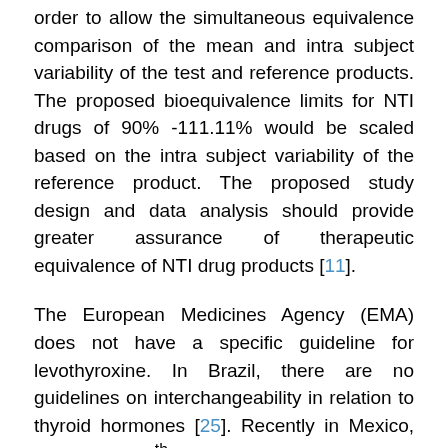order to allow the simultaneous equivalence comparison of the mean and intra subject variability of the test and reference products. The proposed bioequivalence limits for NTI drugs of 90% -111.11% would be scaled based on the intra subject variability of the reference product. The proposed study design and data analysis should provide greater assurance of therapeutic equivalence of NTI drug products [11].
The European Medicines Agency (EMA) does not have a specific guideline for levothyroxine. In Brazil, there are no guidelines on interchangeability in relation to thyroid hormones [25]. Recently in Mexico, on October 07th 2016, it has been authorized bioequivalence testing for levothyroxine by the "General Council of Health", but there is